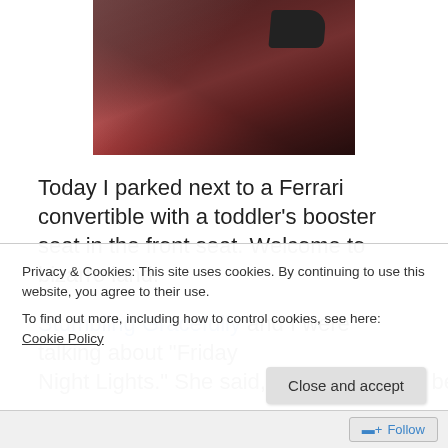[Figure (photo): Close-up photo of a dark red/maroon car door with side mirror visible]
Today I parked next to a Ferrari convertible with a toddler's booster seat in the front seat. Welcome to bizarro land.
Stumbling Gracefully and I were talking about "Friday Night Lights." She said, "I like that show because it's about
Privacy & Cookies: This site uses cookies. By continuing to use this website, you agree to their use. To find out more, including how to control cookies, see here: Cookie Policy
Close and accept